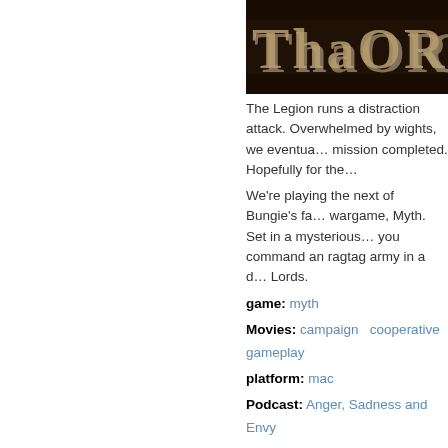[Figure (screenshot): Dark banner image with stylized text 'THAORI G' in stone/carved style on dark background]
The Legion runs a distraction attack. Overwhelmed by wights, we eventually mission completed. Hopefully for the
We're playing the next of Bungie's famous wargame, Myth. Set in a mysterious you command an ragtag army in a deadly Lords.
game: myth
Movies: campaign   cooperative   gameplay
platform: mac
Podcast: Anger, Sadness and Envy
topic: bungie
By narcogen at Fri, 01/29/2016 - 22:04   Read
Let's Play Myth Co-op #02 ...
[Figure (screenshot): Dark banner image with snowflake/asterisk logo and text 'Let's Play Myth Co...' on dark background]